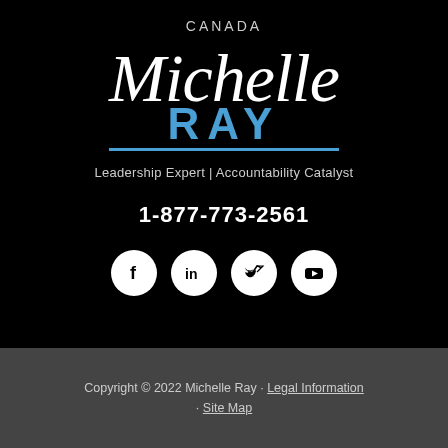CANADA
[Figure (logo): Michelle Ray logo with script 'Michelle' in white and bold 'RAY' in blue with underline]
Leadership Expert | Accountability Catalyst
1-877-773-2561
[Figure (infographic): Four social media icons: Facebook, LinkedIn, Twitter, YouTube — white circles on black background]
Copyright © 2022 Michelle Ray · Legal Information · Site Map